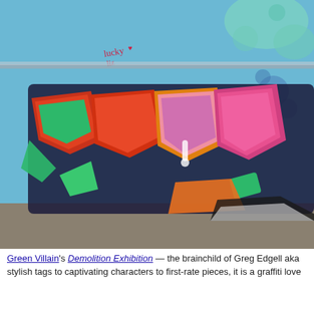[Figure (photo): Colorful graffiti mural on a brick wall featuring large stylized letters in red, orange, green, and pink with a blue background. Small 'lucky liz' tag visible in upper left with a heart symbol.]
Green Villain's Demolition Exhibition — the brainchild of Greg Edgell aka stylish tags to captivating characters to first-rate pieces, it is a graffiti love